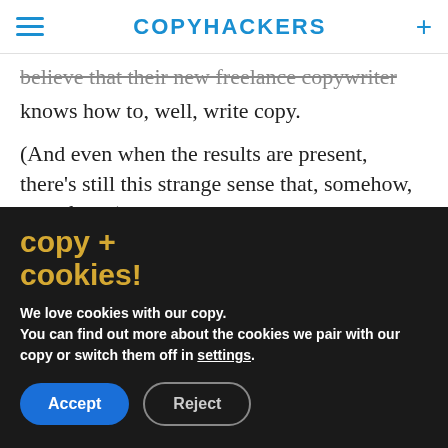COPYHACKERS
believe that their new freelance copywriter knows how to, well, write copy.
(And even when the results are present, there’s still this strange sense that, somehow, it’s a fluke.)
Perhaps the biggest reason for this distrust
copy + cookies!
We love cookies with our copy. You can find out more about the cookies we pair with our copy or switch them off in settings.
Accept  Reject